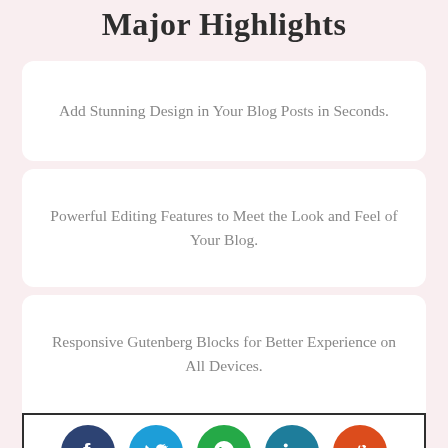Major Highlights
Add Stunning Design in Your Blog Posts in Seconds.
Powerful Editing Features to Meet the Look and Feel of Your Blog.
Responsive Gutenberg Blocks for Better Experience on All Devices.
[Figure (infographic): Social sharing buttons row: Facebook (dark blue), Twitter (light blue), WhatsApp (green), LinkedIn (teal), Reddit (orange-red)]